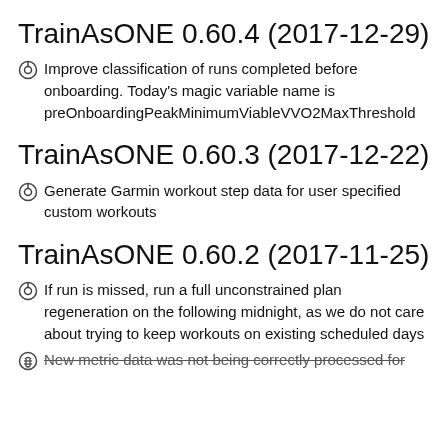TrainAsONE 0.60.4 (2017-12-29)
Improve classification of runs completed before onboarding. Today's magic variable name is preOnboardingPeakMinimumViableVVO2MaxThreshold
TrainAsONE 0.60.3 (2017-12-22)
Generate Garmin workout step data for user specified custom workouts
TrainAsONE 0.60.2 (2017-11-25)
If run is missed, run a full unconstrained plan regeneration on the following midnight, as we do not care about trying to keep workouts on existing scheduled days
New metric data was not being correctly processed for [cut off]